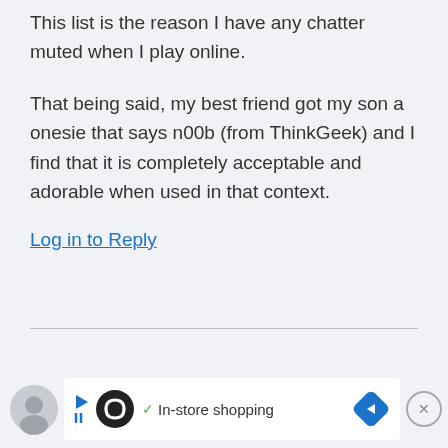This list is the reason I have any chatter muted when I play online.
That being said, my best friend got my son a onesie that says n00b (from ThinkGeek) and I find that it is completely acceptable and adorable when used in that context.
Log in to Reply
[Figure (other): Advertisement banner at bottom of page showing a circular avatar outline, a black circle logo with infinity symbol, a checkmark, 'In-store shopping' text, a blue diamond arrow icon, and a close (X) button.]